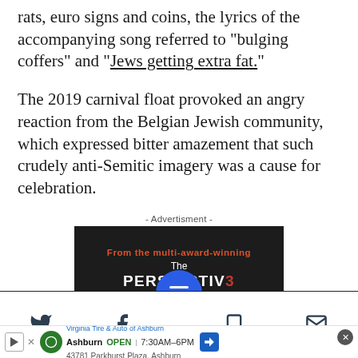rats, euro signs and coins, the lyrics of the accompanying song referred to "bulging coffers" and "Jews getting extra fat."
The 2019 carnival float provoked an angry reaction from the Belgian Jewish community, which expressed bitter amazement that such crudely anti-Semitic imagery was a cause for celebration.
- Advertisment -
[Figure (screenshot): Dark advertisement box for 'The Perspective' publication with red subtitle 'From the multi-award-winning' and white title text]
[Figure (screenshot): Mobile navigation bar with Twitter, Facebook, menu (blue circle FAB), bookmark, and email icons]
[Figure (screenshot): Bottom ad strip for Virginia Tire & Auto of Ashburn showing Ashburn location OPEN 7:30AM-6PM and address 43781 Parkhurst Plaza, Ashburn]